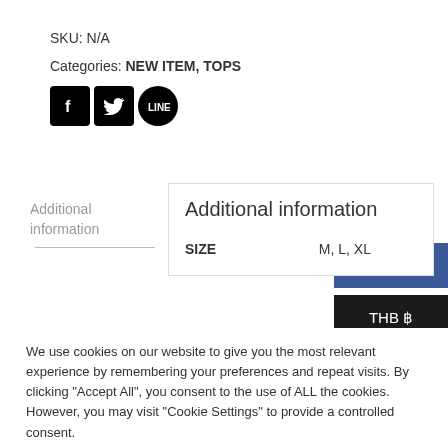SKU: N/A
Categories: NEW ITEM, TOPS
[Figure (infographic): Social share icons: Facebook (f), Twitter (bird), LINE (speech bubble) — black square/circle icons]
USD $
THB ฿
Additional information
Additional information
| SIZE |  |
| --- | --- |
| SIZE | M, L, XL |
We use cookies on our website to give you the most relevant experience by remembering your preferences and repeat visits. By clicking "Accept All", you consent to the use of ALL the cookies. However, you may visit "Cookie Settings" to provide a controlled consent.
Cookie Settings
Accept All